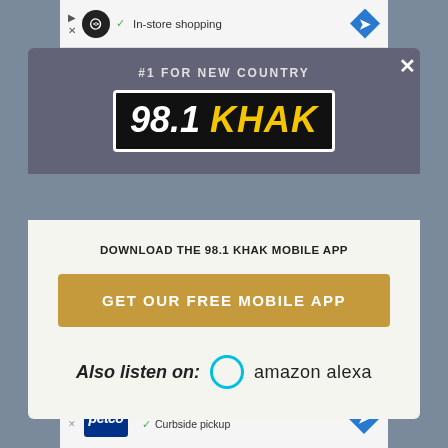[Figure (screenshot): Top advertisement bar showing Petco in-store shopping ad with infinity logo and diamond navigation arrow]
[Figure (screenshot): Modal popup for 98.1 KHAK radio station app download. Top section has dark grey background with station tagline '#1 FOR NEW COUNTRY' and logo. Bottom white section has 'DOWNLOAD THE 98.1 KHAK MOBILE APP' text, a gold 'GET OUR FREE MOBILE APP' button, and 'Also listen on: amazon alexa' with Alexa ring icon.]
[Figure (screenshot): Bottom advertisement bar for Petco showing In-store shopping and Curbside pickup with blue diamond navigation icon]